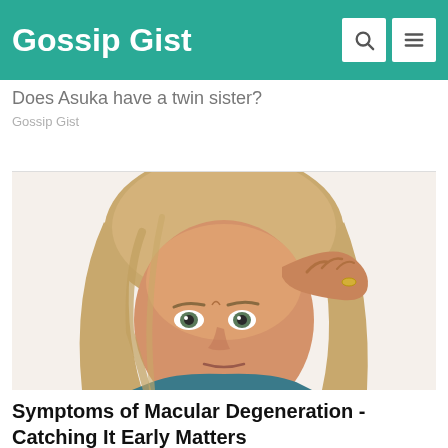Gossip Gist
Does Asuka have a twin sister?
Gossip Gist
[Figure (photo): A middle-aged woman with wavy blonde hair, resting her hand on her forehead with a worried/stressed expression, against a white background.]
Symptoms of Macular Degeneration - Catching It Early Matters